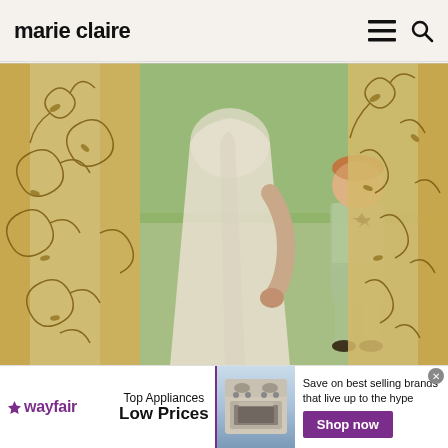marie claire
[Figure (photo): A person in a white wedding dress standing between ornate golden floral curtains, with a young boy in a pale green suit and bow tie visible in the background on a lawn.]
[Figure (infographic): Wayfair advertisement banner: Wayfair logo with star, 'Top Appliances Low Prices' text, image of a stove/range appliance, text 'Save on best selling brands that live up to the hype', and a purple 'Shop now' button.]